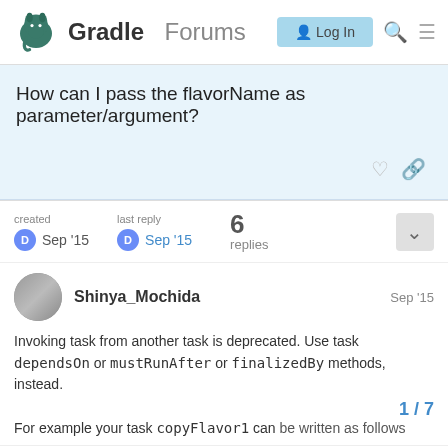Gradle Forums  Log In
How can I pass the flavorName as parameter/argument?
created Sep '15  last reply Sep '15  6 replies
Shinya_Mochida  Sep '15
Invoking task from another task is deprecated. Use task dependsOn or mustRunAfter or finalizedBy methods, instead.

For example your task copyFlavor1 can be written as follows
task copyFlavor1(dependsOn: [a
1 / 7